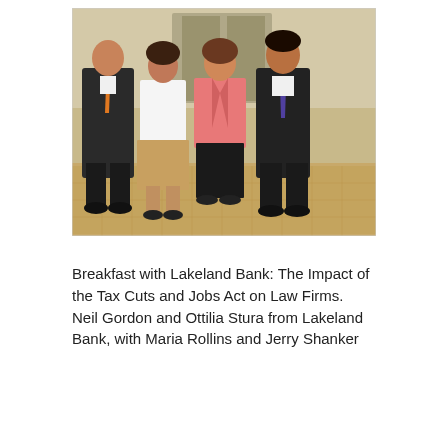[Figure (photo): Four people standing together in a building lobby or hallway. From left to right: a man in a dark suit with an orange tie, a woman in a white top and tan skirt, a woman in a pink blazer with dark pants, and a man in a dark suit with a patterned tie. The background shows an elevator area with a decorative patterned floor.]
Breakfast with Lakeland Bank: The Impact of the Tax Cuts and Jobs Act on Law Firms. Neil Gordon and Ottilia Stura from Lakeland Bank, with Maria Rollins and Jerry Shanker